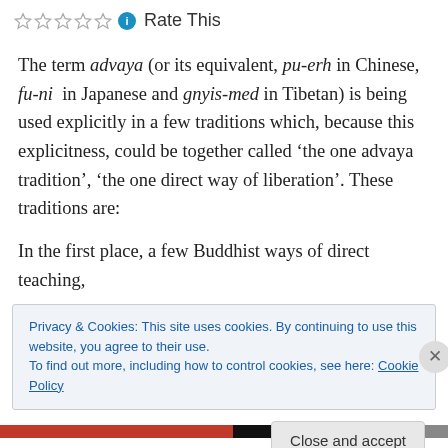Rate This
The term advaya (or its equivalent, pu-erh in Chinese, fu-ni in Japanese and gnyis-med in Tibetan) is being used explicitly in a few traditions which, because this explicitness, could be together called ‘the one advaya tradition’, ‘the one direct way of liberation’. These traditions are:
In the first place, a few Buddhist ways of direct teaching,
Privacy & Cookies: This site uses cookies. By continuing to use this website, you agree to their use.
To find out more, including how to control cookies, see here: Cookie Policy